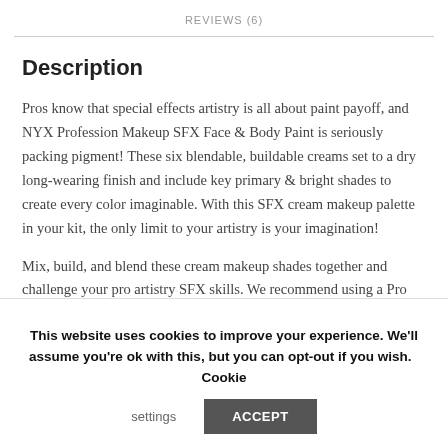REVIEWS (6)
Description
Pros know that special effects artistry is all about paint payoff, and NYX Profession Makeup SFX Face & Body Paint is seriously packing pigment! These six blendable, buildable creams set to a dry long-wearing finish and include key primary & bright shades to create every color imaginable. With this SFX cream makeup palette in your kit, the only limit to your artistry is your imagination!
Mix, build, and blend these cream makeup shades together and challenge your pro artistry SFX skills. We recommend using a Pro Flat
This website uses cookies to improve your experience. We'll assume you're ok with this, but you can opt-out if you wish. Cookie settings ACCEPT